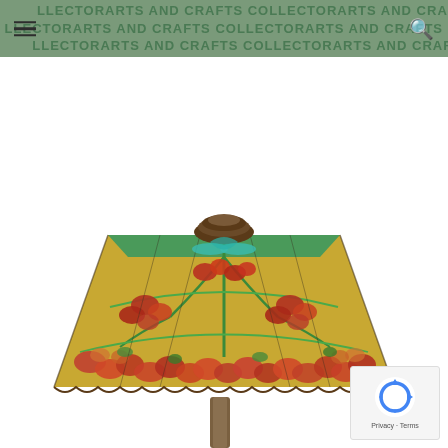COLLECTOR ARTS AND CRAFTS COLLECTOR ARTS AND CRAFTS COLLECTOR ARTS AND CRAFTS
[Figure (photo): A Tiffany-style stained glass lamp shade with colorful floral (poppy) motif in red, amber, green and gold tones, viewed from slightly below, resting on a bronze patina base/post, on a white background.]
[Figure (logo): reCAPTCHA privacy badge with spinning arrows logo icon and 'Privacy - Terms' text link at bottom right corner of page.]